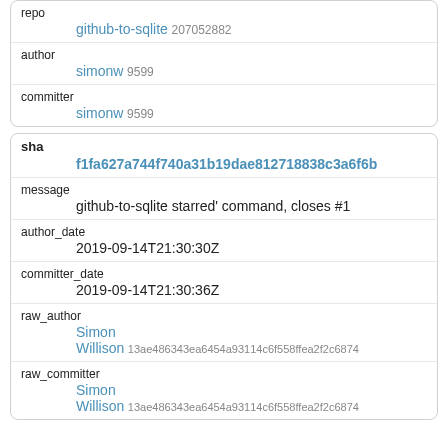repo
github-to-sqlite 207052882
author
simonw 9599
committer
simonw 9599
sha
f1fa627a744f740a31b19dae812718838c3a6f6b
message
github-to-sqlite starred' command, closes #1
author_date
2019-09-14T21:30:30Z
committer_date
2019-09-14T21:30:36Z
raw_author
Simon
Willison 13ae486343ea6454a93114c6f558ffea2f2c6874
raw_committer
Simon
Willison 13ae486343ea6454a93114c6f558ffea2f2c6874